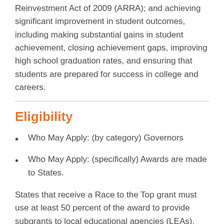Reinvestment Act of 2009 (ARRA); and achieving significant improvement in student outcomes, including making substantial gains in student achievement, closing achievement gaps, improving high school graduation rates, and ensuring that students are prepared for success in college and careers.
Eligibility
Who May Apply: (by category) Governors
Who May Apply: (specifically) Awards are made to States.
States that receive a Race to the Top grant must use at least 50 percent of the award to provide subgrants to local educational agencies (LEAs), including public charter schools identified as LEAs under State law, based upon LEAs' relative shares of funding under Part